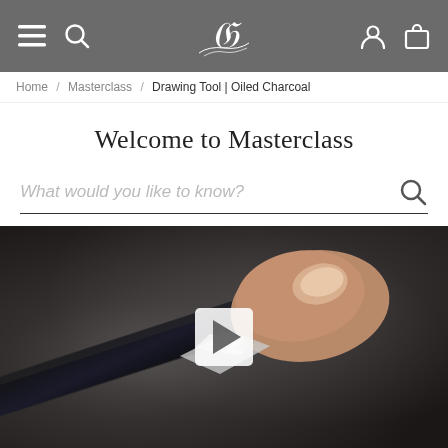Navigation bar with menu, search, logo, account, and cart icons
Home / Masterclass / Drawing Tool | Oiled Charcoal
Welcome to Masterclass
What would you like to know?
[Figure (photo): Close-up video thumbnail showing a hand holding an oiled charcoal drawing tool with a play button overlay]